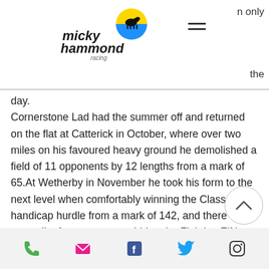Micky Hammond Racing — header with logo and navigation
day.
Cornerstone Lad had the summer off and returned on the flat at Catterick in October, where over two miles on his favoured heavy ground he demolished a field of 11 opponents by 12 lengths from a mark of 65.At Wetherby in November he took his form to the next level when comfortably winning the Class 3 handicap hurdle from a mark of 142, and there was now talk of an outrageous bid at the Fighting Fifth hurdle later that month.
Phone, Email, Facebook, Twitter, Instagram icons